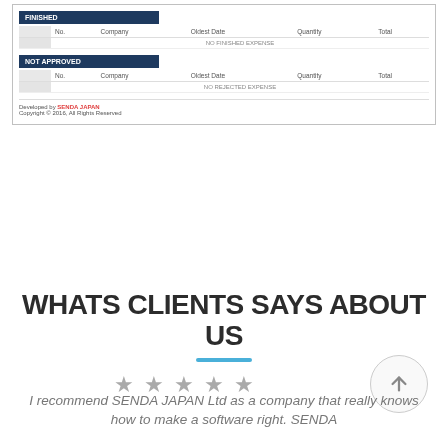[Figure (screenshot): Screenshot of an expense management web application showing two sections: FINISHED and NOT APPROVED, each with a table showing No., Company, Oldest Date, Quantity, Total columns. FINISHED section shows 'NO FINISHED EXPENSE' message, NOT APPROVED section shows 'NO REJECTED EXPENSE' message. Footer shows 'Developed by SENDA JAPAN' and copyright notice.]
WHATS CLIENTS SAYS ABOUT US
[Figure (other): Five gray star rating icons]
I recommend SENDA JAPAN Ltd as a company that really knows how to make a software right. SENDA